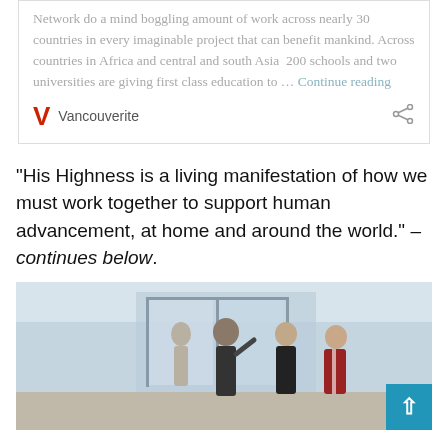Network do a mind boggling amount of work across nearly 30 countries in every imaginable project that can benefit mankind. Across countries in Africa and central and south Asia  200 schools and two universities are giving first class education to … Continue reading
Vancouverite
"His Highness is a living manifestation of how we must work together to support human advancement, at home and around the world." – continues below.
[Figure (photo): Photo of people walking through glass entrance doors of a building. A man in a dark suit waving, accompanied by others in academic regalia.]